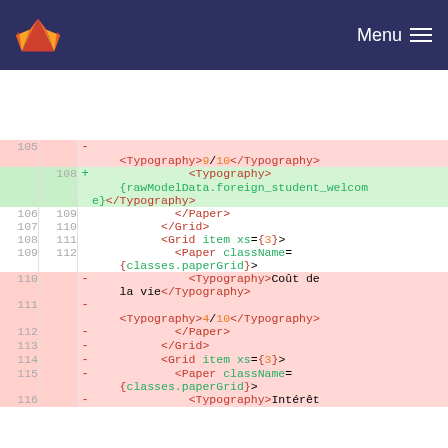GitLab — Menu
[Figure (screenshot): Code diff view showing JSX code changes. Lines 105-116 visible. Removed lines (pink background) include Typography tags with 9/10 rating, closing Paper/Grid tags, Typography tag with '4/10', closing Paper and Grid tags, Grid item xs={3}, Paper className={classes.paperGrid}, Typography with 'Coût de la vie', Typography with 4/10. Added lines (green background) line 108 shows Typography with {rawModelData.foreign_student_welcome} content.]